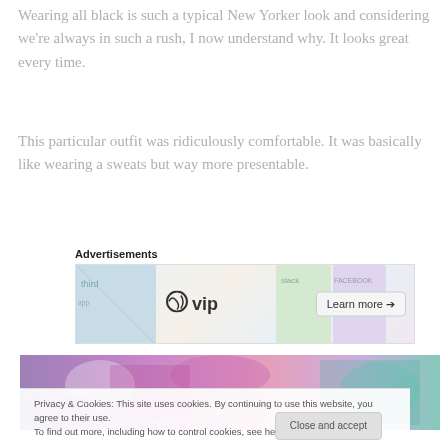Wearing all black is such a typical New Yorker look and considering we're always in such a rush, I now understand why.  It looks great every time.
This particular outfit was ridiculously comfortable.  It was basically like wearing a sweats but way more presentable.
[Figure (other): WordPress VIP advertisement banner with logo, decorative card images, and 'Learn more' button]
[Figure (photo): Purple/pink graffiti brick wall background photo strip]
Privacy & Cookies: This site uses cookies. By continuing to use this website, you agree to their use.
To find out more, including how to control cookies, see here: Cookie Policy
[Close and accept button]